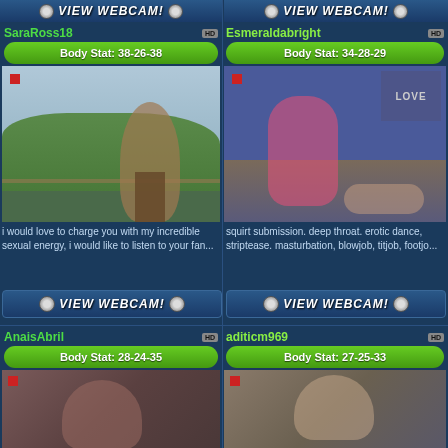[Figure (screenshot): VIEW WEBCAM banner top left]
[Figure (screenshot): VIEW WEBCAM banner top right]
SaraRoss18
HD
Body Stat: 38-26-38
Esmeraldabright
HD
Body Stat: 34-28-29
[Figure (photo): Photo of SaraRoss18 posing outdoors on a stool with green hills background]
[Figure (photo): Photo of Esmeraldabright in pink dress on a bed with blue wall and LOVE letters]
i would love to charge you with my incredible sexual energy, i would like to listen to your fan...
squirt submission. deep throat. erotic dance, striptease. masturbation, blowjob, titjob, footjo...
[Figure (screenshot): VIEW WEBCAM button for SaraRoss18]
[Figure (screenshot): VIEW WEBCAM button for Esmeraldabright]
AnaisAbril
HD
Body Stat: 28-24-35
aditicm969
HD
Body Stat: 27-25-33
[Figure (photo): Partial photo of AnaisAbril]
[Figure (photo): Partial photo of aditicm969]